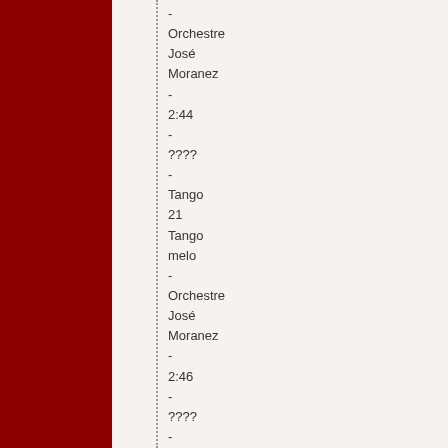-
Orchestre José Moranez
-
2:44
-
????
-
Tango
21
Tango melo
-
Orchestre José Moranez
-
2:46
-
????
-
Tango
22
Terquedad
-
Orchestre José Moranez
-
2:44
-
????
-
Tango
23
Vida alegre